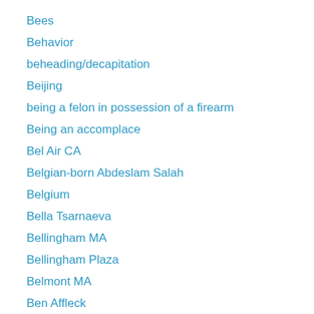Bees
Behavior
beheading/decapitation
Beijing
being a felon in possession of a firearm
Being an accomplace
Bel Air CA
Belgian-born Abdeslam Salah
Belgium
Bella Tsarnaeva
Bellingham MA
Bellingham Plaza
Belmont MA
Ben Affleck
Bend
Benghazi Attack
Benjamin Celma-Sedo of Spain
Bent On Destruction©
Berlin Germany
Berlin MA